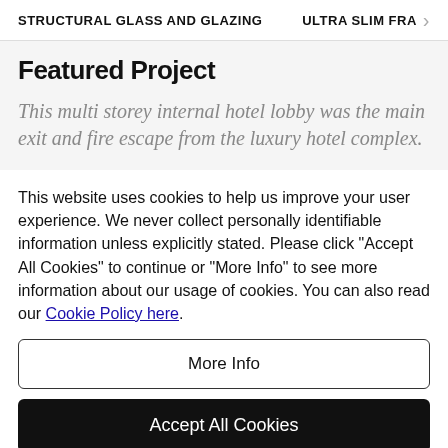STRUCTURAL GLASS AND GLAZING    ULTRA SLIM FRA >
Featured Project
This multi storey internal hotel lobby was the main exit and fire escape from the luxury hotel complex.
This website uses cookies to help us improve your user experience. We never collect personally identifiable information unless explicitly stated. Please click "Accept All Cookies" to continue or "More Info" to see more information about our usage of cookies. You can also read our Cookie Policy here.
More Info
Accept All Cookies